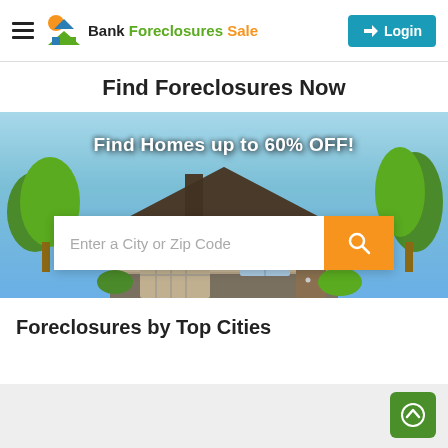Bank Foreclosures Sale — Login
Find Foreclosures Now
[Figure (screenshot): Hero image of a modern house with blue sky background, text overlay: Find Homes up to 60% OFF!, and a search bar with 'Enter a City or Zip Code' placeholder and an orange search button]
Foreclosures by Top Cities